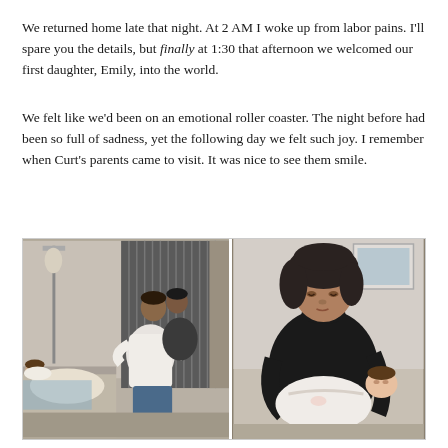We returned home late that night. At 2 AM I woke up from labor pains. I'll spare you the details, but finally at 1:30 that afternoon we welcomed our first daughter, Emily, into the world.
We felt like we'd been on an emotional roller coaster. The night before had been so full of sadness, yet the following day we felt such joy. I remember when Curt's parents came to visit. It was nice to see them smile.
[Figure (photo): Two side-by-side photographs. Left photo: a hospital room scene with a woman lying in a hospital bed wearing a blue gown on the left, and two other people—one in a white shirt and one in dark clothing with jeans—embracing in the middle-right of the frame, with vertical blinds in the background. Right photo: a woman with dark hair and a black turtleneck sweater holding a newborn baby wrapped in white.]